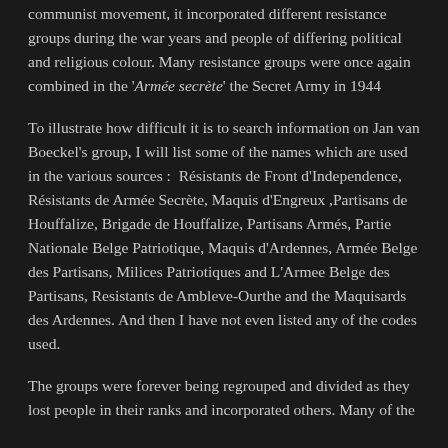communist movement, it incorporated different resistance groups during the war years and people of differing political and religious colour. Many resistance groups were once again combined in the 'Armée secrète' the Secret Army in 1944
To illustrate how difficult it is to search information on Jan van Boeckel's group, I will list some of the names which are used in the various sources : Résistants de Front d'Independence, Résistants de Armée Secrète, Maquis d'Engreux ,Partisans de Houffalize, Brigade de Houffalize, Partisans Armés, Partie Nationale Belge Patriotique, Maquis d'Ardennes, Armée Belge des Partisans, Milices Patriotiques and L'Armee Belge des Partisans, Resistants de Ambleve-Ourthe and the Maquisards des Ardennes. And then I have not even listed any of the codes used.
The groups were forever being regrouped and divided as they lost people in their ranks and incorporated others. Many of the